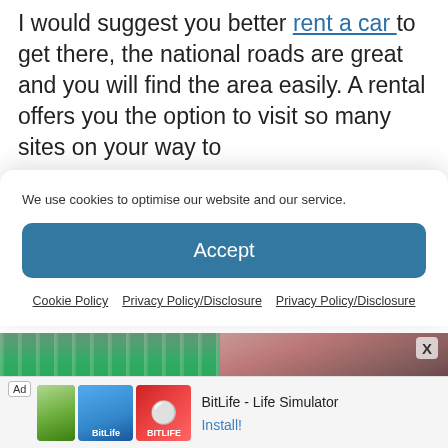I would suggest you better rent a car to get there, the national roads are great and you will find the area easily. A rental offers you the option to visit so many sites on your way to
We use cookies to optimise our website and our service.
Accept
Cookie Policy   Privacy Policy/Disclosure   Privacy Policy/Disclosure
[Figure (photo): Two side-by-side photos: left shows a lush green forest/waterfall scene, right shows reddish-brown rocky/earthy terrain]
[Figure (screenshot): Advertisement for BitLife - Life Simulator app with install button]